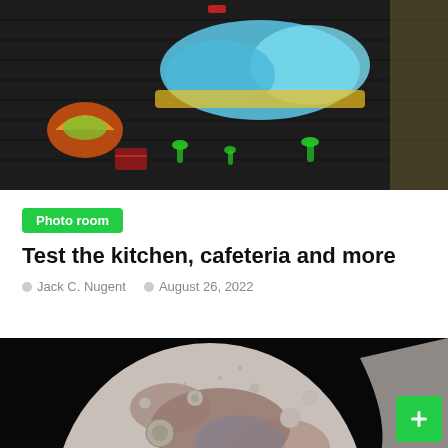[Figure (photo): Graffiti mural on brick wall with taco stickers and colorful lettering]
Photo room
Test the kitchen, cafeteria and more
Jack C. Nugent   August 26, 2022
[Figure (photo): Close-up photograph of the moon surface showing craters and details against black sky]